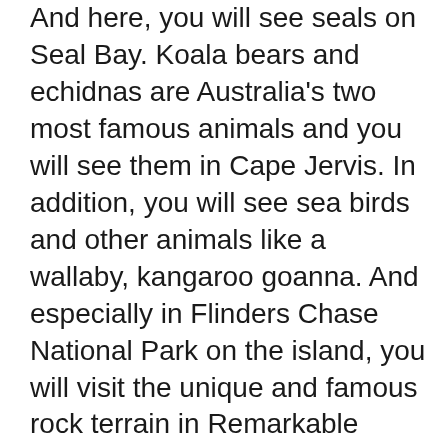And here, you will see seals on Seal Bay. Koala bears and echidnas are Australia's two most famous animals and you will see them in Cape Jervis. In addition, you will see sea birds and other animals like a wallaby, kangaroo goanna. And especially in Flinders Chase National Park on the island, you will visit the unique and famous rock terrain in Remarkable Rocks. Children will enjoy and shout out with the sea birds flying overhead at Admiral's Arch. A great day experience for the whole family.
10. Victor Harbor and McLaren Vale Highlights Day